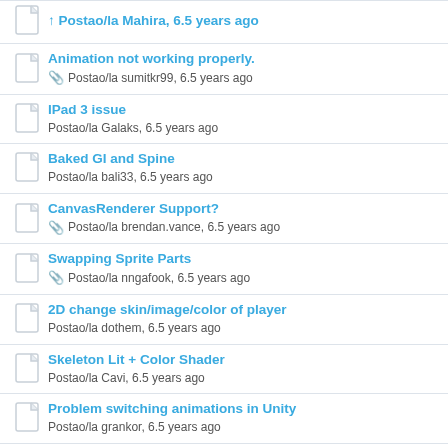Animation not working properly. — Postao/la sumitkr99, 6.5 years ago
IPad 3 issue — Postao/la Galaks, 6.5 years ago
Baked GI and Spine — Postao/la bali33, 6.5 years ago
CanvasRenderer Support? — Postao/la brendan.vance, 6.5 years ago
Swapping Sprite Parts — Postao/la nngafook, 6.5 years ago
2D change skin/image/color of player — Postao/la dothem, 6.5 years ago
Skeleton Lit + Color Shader — Postao/la Cavi, 6.5 years ago
Problem switching animations in Unity — Postao/la grankor, 6.5 years ago
Attaching Sprites are rotated and scaled...